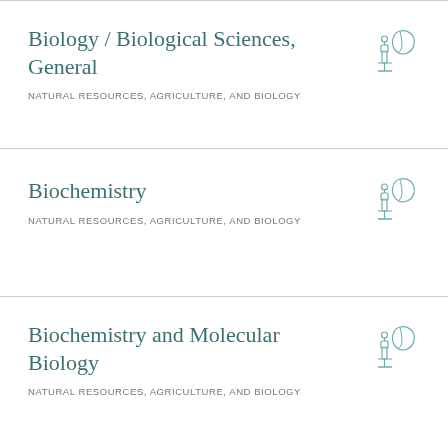Biology / Biological Sciences, General
NATURAL RESOURCES, AGRICULTURE, AND BIOLOGY
Biochemistry
NATURAL RESOURCES, AGRICULTURE, AND BIOLOGY
Biochemistry and Molecular Biology
NATURAL RESOURCES, AGRICULTURE, AND BIOLOGY